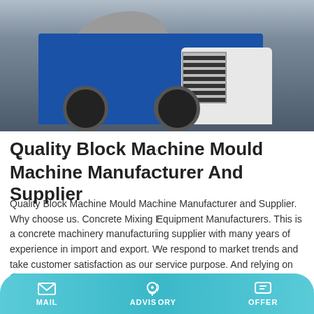[Figure (photo): Blue concrete mixing truck / self-loading concrete mixer on a construction site, with grey drum on top and white cab section, large tires visible, outdoor setting with sandy ground.]
Quality Block Machine Mould Machine Manufacturer And Supplier
Quality Block Machine Mould Machine Manufacturer and Supplier. Why choose us. Concrete Mixing Equipment Manufacturers. This is a concrete machinery manufacturing supplier with many years of experience in import and export. We respond to market trends and take customer satisfaction as our service purpose. And relying on advanced technology has
Learn More
MAIL   ADVISORY   OFFER